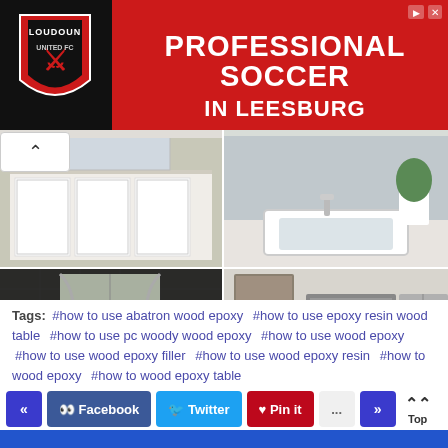[Figure (photo): Red advertisement banner for Loudoun Soccer — Professional Soccer in Leesburg]
[Figure (photo): White bathroom cabinet with large mirror and drawers]
[Figure (photo): White sink and countertop with plant]
[Figure (photo): Dark-tiled bathroom with freestanding white bathtub, red towel, and potted plant]
[Figure (photo): Modern kitchen with white cabinets, stainless steel appliances, and mosaic backsplash]
Tags:  #how to use abatron wood epoxy  #how to use epoxy resin wood table  #how to use pc woody wood epoxy  #how to use wood epoxy  #how to use wood epoxy filler  #how to use wood epoxy resin  #how to wood epoxy  #how to wood epoxy table